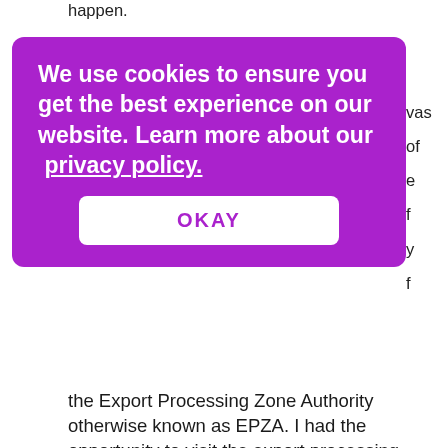happen.
We use cookies to ensure you get the best experience on our website. Learn more about our  privacy policy.

OKAY
was
of
e
f
y
f
the Export Processing Zone Authority otherwise known as EPZA. I had the opportunity to visit the export processing zones in Bataan, Baguio, and Cebu. In fact, my thesis was on fiscal incentives. This was in 1985.
[Figure (photo): Card or plaque reading 'Deputy Minister for Trade and Industry Administrator of the Export Processing Zone Authority (EPZA)' with pink decorative triangle in top right corner, and two historical black-and-white/sepia photographs below.]